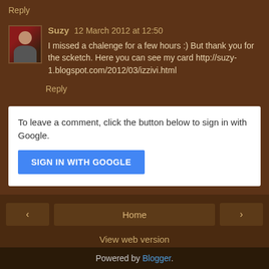Reply
Suzy 12 March 2012 at 12:50
I missed a chalenge for a few hours :) But thank you for the scketch. Here you can see my card http://suzy-1.blogspot.com/2012/03/izzivi.html
Reply
To leave a comment, click the button below to sign in with Google.
SIGN IN WITH GOOGLE
Home
View web version
Powered by Blogger.